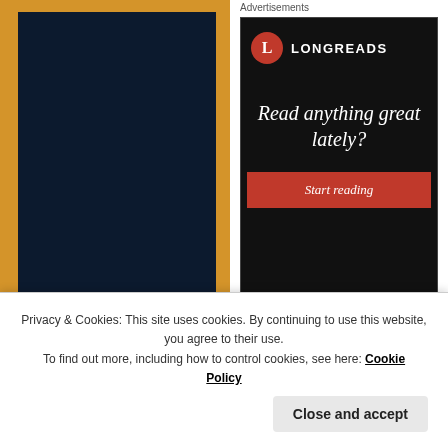[Figure (other): Left advertisement column with dark navy blue book/product image on golden/amber background]
REPORT THIS AD
Advertisements
[Figure (other): Longreads advertisement on black background with logo, italic text 'Read anything great lately?' and red 'Start reading' button]
Posted in Céline Robert, life, Paris | Tagged: Robert, chapeaux, fedora, feutre, hats, hipst...
Privacy & Cookies: This site uses cookies. By continuing to use this website, you agree to their use.
To find out more, including how to control cookies, see here: Cookie Policy
Close and accept